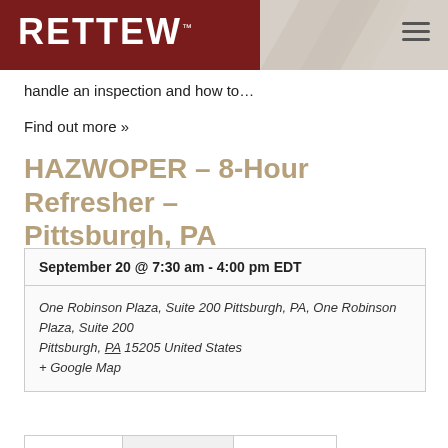[Figure (logo): RETTEW logo in white text on dark red/maroon header with light gray diamond pattern on the right]
handle an inspection and how to…
Find out more »
HAZWOPER – 8-Hour Refresher – Pittsburgh, PA
| September 20 @ 7:30 am - 4:00 pm EDT |
| One Robinson Plaza, Suite 200 Pittsburgh, PA, One Robinson Plaza, Suite 200
Pittsburgh, PA 15205 United States
+ Google Map |
$235.00    10 tickets left    Buy Now!
This eight-hour refresher course provides an in-depth